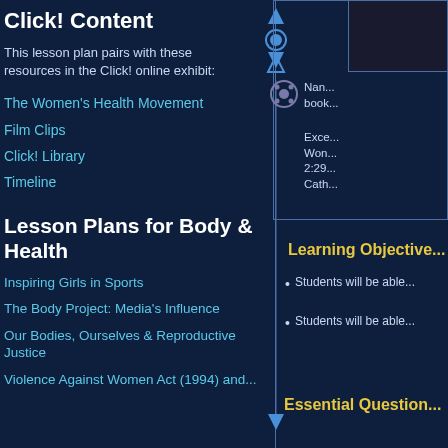Click! Content
This lesson plan pairs with these resources in the Click! online exhibit:
The Women's Health Movement
Film Clips
Click! Library
Timeline
Lesson Plans for Body & Health
Inspiring Girls in Sports
The Body Project: Media's Influence
Our Bodies, Ourselves & Reproductive Justice
Violence Against Women Act (1994) and...
[Figure (photo): Dark photo in top right corner]
[Figure (illustration): Film reel icon]
Nan... book...
Exce... Won... 2:29... Cath...
Learning Objectives
Students will be able...
Students will be able...
Essential Questions